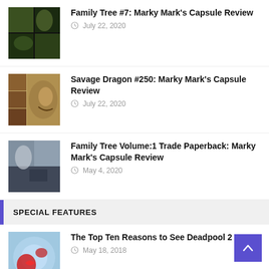[Figure (illustration): Comic book cover thumbnail for Family Tree #7]
Family Tree #7: Marky Mark's Capsule Review
July 22, 2020
[Figure (illustration): Comic book cover thumbnail for Savage Dragon #250]
Savage Dragon #250: Marky Mark's Capsule Review
July 22, 2020
[Figure (illustration): Comic book cover thumbnail for Family Tree Volume 1 Trade Paperback]
Family Tree Volume:1 Trade Paperback: Marky Mark's Capsule Review
May 4, 2020
SPECIAL FEATURES
[Figure (illustration): Comic/movie art thumbnail for The Top Ten Reasons to See Deadpool 2]
The Top Ten Reasons to See Deadpool 2
May 18, 2018